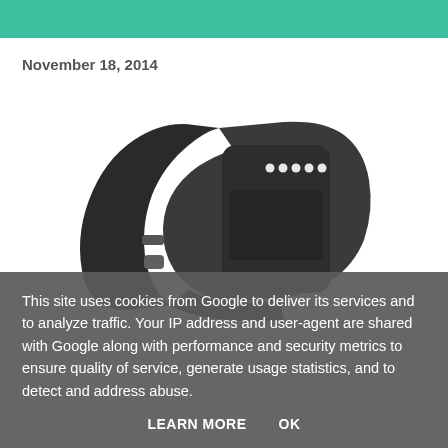November 18, 2014
[Figure (photo): Fitbit Flex activity tracker wristband in black, shown at an angle displaying LED indicator dots on the tracker module.]
This site uses cookies from Google to deliver its services and to analyze traffic. Your IP address and user-agent are shared with Google along with performance and security metrics to ensure quality of service, generate usage statistics, and to detect and address abuse.
LEARN MORE   OK